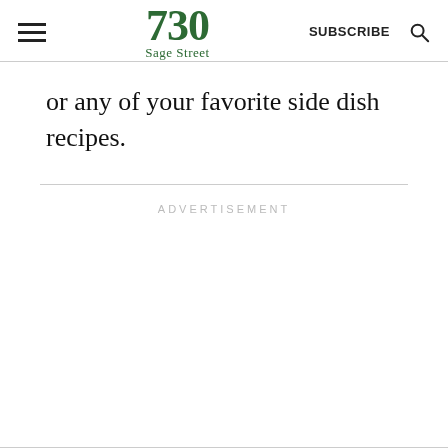730 Sage Street | SUBSCRIBE
or any of your favorite side dish recipes.
ADVERTISEMENT